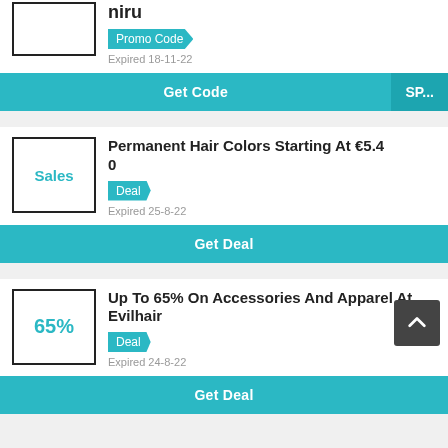Promo Code
Expired 18-11-22
Get Code | SP...
Permanent Hair Colors Starting At €5.40
Deal
Expired 25-8-22
Get Deal
Up To 65% On Accessories And Apparel At Evilhair
Deal
Expired 24-8-22
Get Deal